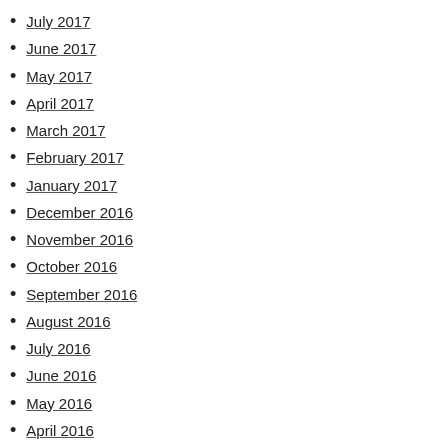July 2017
June 2017
May 2017
April 2017
March 2017
February 2017
January 2017
December 2016
November 2016
October 2016
September 2016
August 2016
July 2016
June 2016
May 2016
April 2016
March 2016